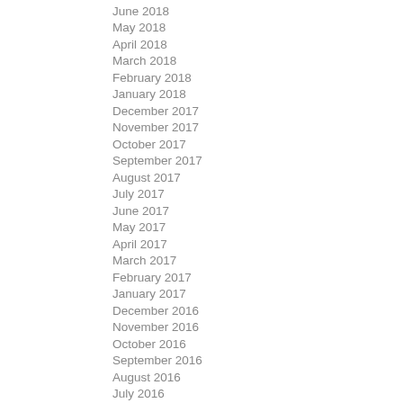June 2018
May 2018
April 2018
March 2018
February 2018
January 2018
December 2017
November 2017
October 2017
September 2017
August 2017
July 2017
June 2017
May 2017
April 2017
March 2017
February 2017
January 2017
December 2016
November 2016
October 2016
September 2016
August 2016
July 2016
June 2016
May 2016
April 2016
March 2016
February 2016